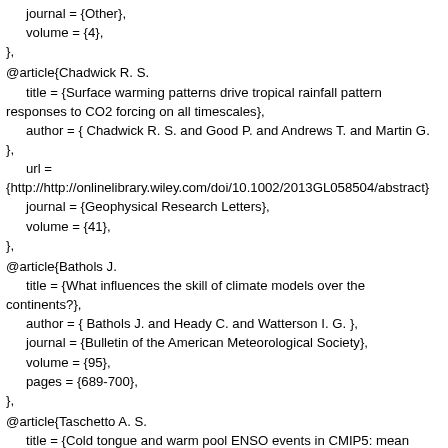journal = {Other},
  volume = {4},
},
@article{Chadwick R. S.
  title = {Surface warming patterns drive tropical rainfall pattern responses to CO2 forcing on all timescales},
  author = { Chadwick R. S. and Good P. and Andrews T. and Martin G.
},
  url =
{http://http://onlinelibrary.wiley.com/doi/10.1002/2013GL058504/abstract}
  journal = {Geophysical Research Letters},
  volume = {41},
},
@article{Bathols J.
  title = {What influences the skill of climate models over the continents?},
  author = { Bathols J. and Heady C. and Watterson I. G. },
  journal = {Bulletin of the American Meteorological Society},
  volume = {95},
  pages = {689-700},
},
@article{Taschetto A. S.
  title = {Cold tongue and warm pool ENSO events in CMIP5: mean